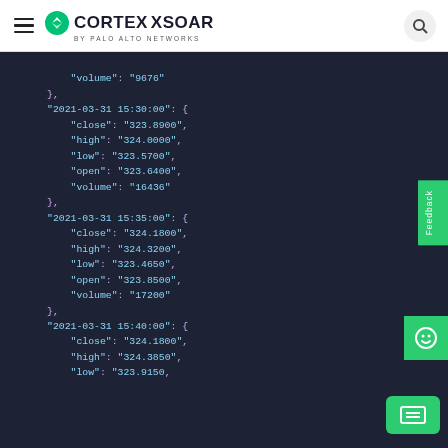CORTEX XSOAR by Palo Alto Networks
[Figure (screenshot): JSON code block on dark background showing stock market data for 2021-03-31 timestamps at 15:30:00, 15:35:00, and 15:40:00 with close, high, low, open, and volume fields.]